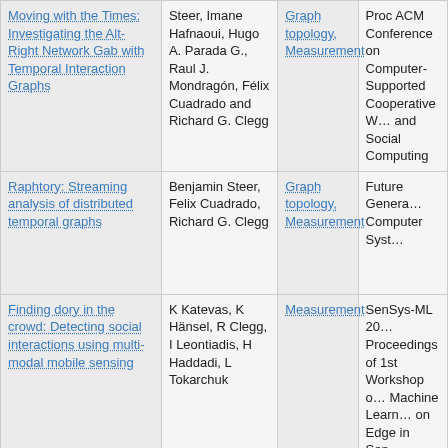| Title | Authors | Tags | Venue |
| --- | --- | --- | --- |
| Moving with the Times: Investigating the Alt-Right Network Gab with Temporal Interaction Graphs | Steer, Imane Hafnaoui, Hugo A. Parada G., Raul J. Mondragón, Félix Cuadrado and Richard G. Clegg | Graph topology, Measurement | Proc ACM Conference on Computer-Supported Cooperative Work and Social Computing |
| Raphtory: Streaming analysis of distributed temporal graphs | Benjamin Steer, Felix Cuadrado, Richard G. Clegg | Graph topology, Measurement | Future Generation Computer Systems |
| Finding dory in the crowd: Detecting social interactions using multi-modal mobile sensing | K Katevas, K Hänsel, R Clegg, I Leontiadis, H Haddadi, L Tokarchuk | Measurement | SenSys-ML 2019 Proceedings of 1st Workshop on Machine Learning on Edge in Sensor Systems |
| On the Distribution of | Mohammed Alasmar, George | Long-Range |  |